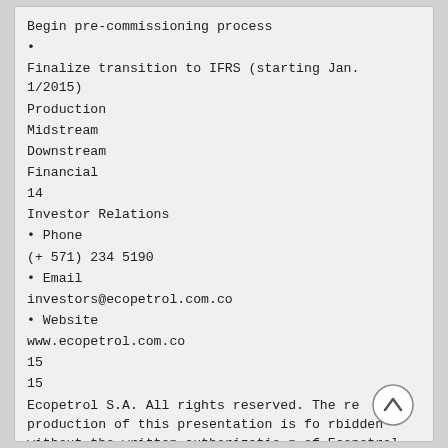Begin pre-commissioning process
•
Finalize transition to IFRS (starting Jan. 1/2015)
Production
Midstream
Downstream
Financial
14
Investor Relations
• Phone
(+ 571) 234 5190
• Email
investors@ecopetrol.com.co
• Website
www.ecopetrol.com.co
15
15
Ecopetrol S.A. All rights reserved. The reproduction of this presentation is forbidden without the written authorization of Ecopetrol S.A.